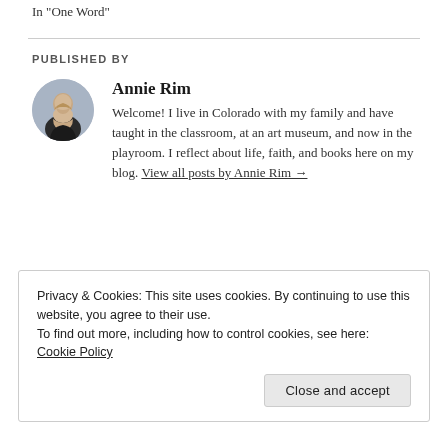In "One Word"
PUBLISHED BY
[Figure (photo): Circular avatar photo of Annie Rim, a woman smiling, with dark hair, outdoors background.]
Annie Rim
Welcome! I live in Colorado with my family and have taught in the classroom, at an art museum, and now in the playroom. I reflect about life, faith, and books here on my blog. View all posts by Annie Rim →
Privacy & Cookies: This site uses cookies. By continuing to use this website, you agree to their use.
To find out more, including how to control cookies, see here: Cookie Policy
Close and accept